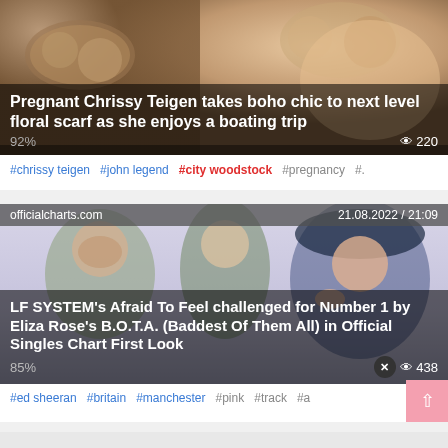[Figure (photo): Close-up photo of a woman wearing large sunglasses, with warm brown tones, used as article thumbnail for Chrissy Teigen boating trip story]
Pregnant Chrissy Teigen takes boho chic to next level 92% floral scarf as she enjoys a boating trip  220
#chrissy teigen  #john legend  #city woodstock  #pregnancy  #.
[Figure (photo): Photo of three people: a large bearded man, a young man in the center, and a woman in a large hat on the right, on a light purple/lavender background. Source: officialcharts.com. Date: 21.08.2022 / 21:09]
LF SYSTEM's Afraid To Feel challenged for Number 1 by Eliza Rose's B.O.T.A. (Baddest Of Them All) in Official 85% les Chart First Look  438
#ed sheeran  #britain  #manchester  #pink  #track  #a